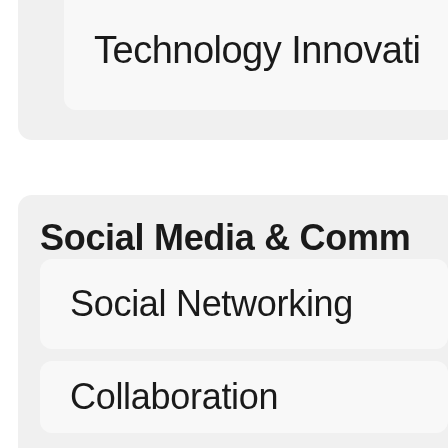Technology Innovati
Social Media & Comm
Social Networking
Collaboration